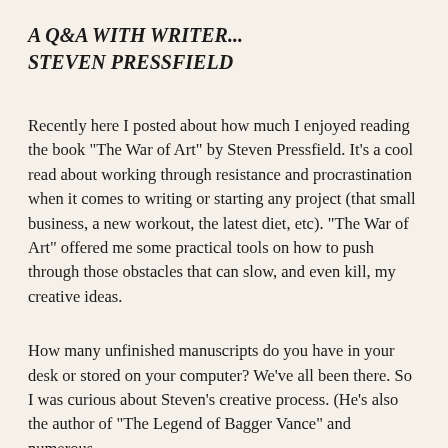A Q&A WITH WRITER... STEVEN PRESSFIELD
Recently here I posted about how much I enjoyed reading the book "The War of Art" by Steven Pressfield.  It's a cool read about working through resistance and procrastination when it comes to writing or starting any project (that small business, a new workout, the latest diet, etc).  "The War of Art" offered me some practical tools on how to push through those obstacles that can slow, and even kill, my creative ideas.
How many unfinished manuscripts do you have in your desk or stored on your computer?  We've all been there.  So I was curious about Steven's creative process.  (He's also the author of "The Legend of Bagger Vance" and numerous